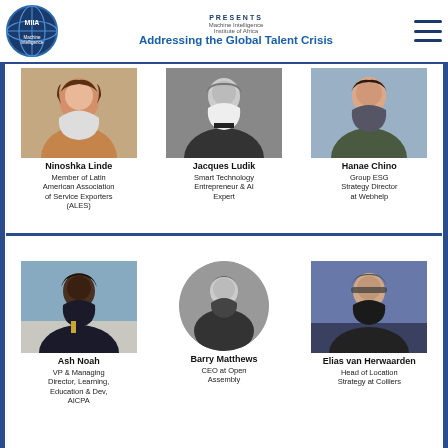[Figure (logo): MIIA Machine Intelligence Institute of Africa globe logo]
PRESENTS
Machine Intelligence Institute of Africa
Addressing the Global Talent Crisis
[Figure (photo): Photo of Ninoshka Linde]
Ninoshka Linde
Member of Latin American Association of Service Exporters (ALES)
[Figure (photo): Photo of Jacques Ludik]
Jacques Ludik
Smart Technology Entrepreneur & AI Expert
[Figure (photo): Photo of Hanae Chino]
Hanae Chino
Group ESG Strategy Director at Webhelp
[Figure (photo): Photo of Ash Noah]
Ash Noah
VP & Managing Director, Learning, Education & Dev, AICPA
[Figure (photo): Photo of Barry Matthews (circular crop)]
Barry Matthews
CEO at Open Assembly
[Figure (photo): Photo of Elias van Herwaarden]
Elias van Herwaarden
Head of Location Strategy at Colliers